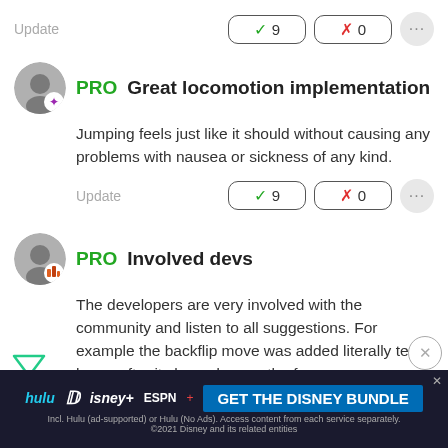Update
✓ 9
✗ 0
...
PRO Great locomotion implementation
Jumping feels just like it should without causing any problems with nausea or sickness of any kind.
Update
✓ 9
✗ 0
...
PRO Involved devs
The developers are very involved with the community and listen to all suggestions. For example the backflip move was added literally ten hours after it showed up on the forums as a suggestion.
[Figure (other): Filter icon (green funnel shape)]
[Figure (other): Close/X button circle]
[Figure (other): Disney Bundle advertisement banner: hulu Disney+ ESPN+ GET THE DISNEY BUNDLE. Incl. Hulu (ad-supported) or Hulu (No Ads). Access content from each service separately. ©2021 Disney and its related entities]